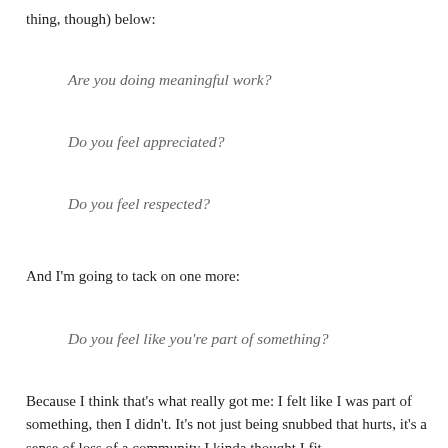thing, though) below:
Are you doing meaningful work?
Do you feel appreciated?
Do you feel respected?
And I'm going to tack on one more:
Do you feel like you're part of something?
Because I think that's what really got me: I felt like I was part of something, then I didn't. It's not just being snubbed that hurts, it's a sense of loss of a community I kinda thought I fit